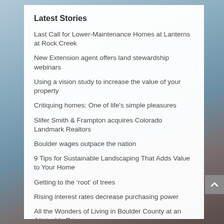Latest Stories
Last Call for Lower-Maintenance Homes at Lanterns at Rock Creek
New Extension agent offers land stewardship webinars
Using a vision study to increase the value of your property
Critiquing homes: One of life's simple pleasures
Slifer Smith & Frampton acquires Colorado Landmark Realtors
Boulder wages outpace the nation
9 Tips for Sustainable Landscaping That Adds Value to Your Home
Getting to the 'root' of trees
Rising interest rates decrease purchasing power
All the Wonders of Living in Boulder County at an Attainable Price
Colorado Landmark Realtors: Luxury Service.